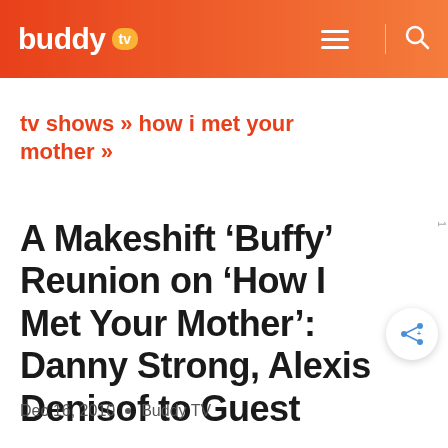buddy tv
tv shows » how i met your mother »
A Makeshift ‘Buffy’ Reunion on ‘How I Met Your Mother’: Danny Strong, Alexis Denisof to Guest
Dec 16, 2010  •  Buddy TV